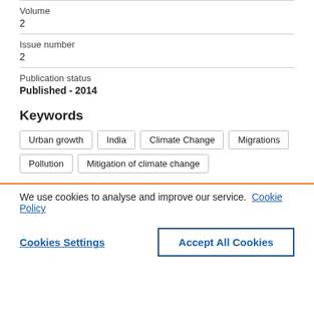Volume
2
Issue number
2
Publication status
Published - 2014
Keywords
Urban growth
India
Climate Change
Migrations
Pollution
Mitigation of climate change
We use cookies to analyse and improve our service. Cookie Policy
Cookies Settings
Accept All Cookies